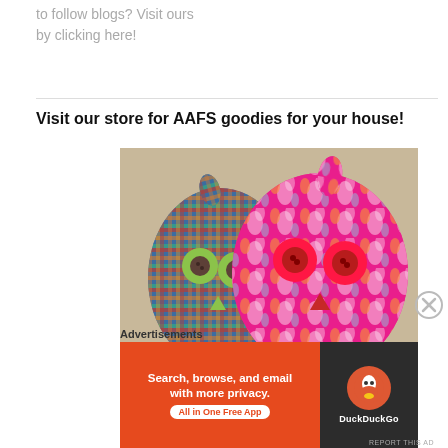to follow blogs? Visit ours by clicking here!
Visit our store for AAFS goodies for your house!
[Figure (photo): Two decorative fabric owl-shaped items side by side — one with blue/orange plaid pattern and green button eyes, one with bright pink/floral pattern and red button eyes.]
Advertisements
[Figure (infographic): DuckDuckGo advertisement banner: orange left side with text 'Search, browse, and email with more privacy. All in One Free App', dark right side with DuckDuckGo logo.]